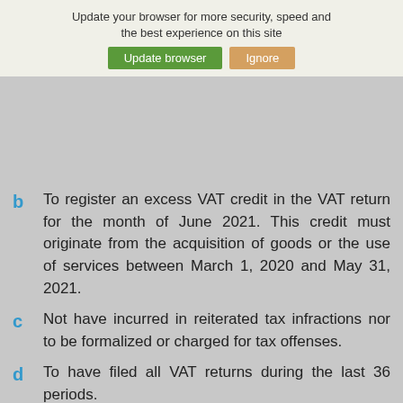Update your browser for more security, speed and the best experience on this site
last 2 months, continuous or discontinuous, between January 1, 2020 and May 31, 2021.
b  To register an excess VAT credit in the VAT return for the month of June 2021. This credit must originate from the acquisition of goods or the use of services between March 1, 2020 and May 31, 2021.
c  Not have incurred in reiterated tax infractions nor to be formalized or charged for tax offenses.
d  To have filed all VAT returns during the last 36 periods.
e  To have registered all the operations that